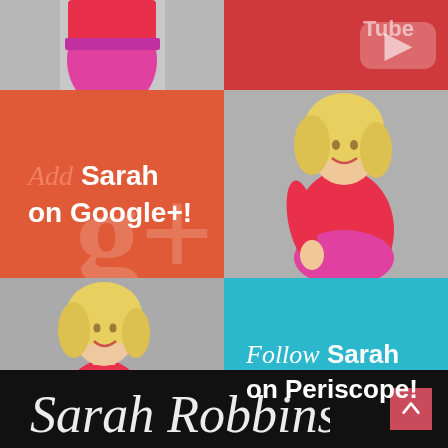[Figure (photo): Top-left cell: partial photo of woman in red/pink outfit on gray background]
[Figure (logo): Top-right cell: red background with YouTube logo (rounded rectangle with play button)]
[Figure (infographic): Middle-left: orange-red background with Google+ watermark symbol, text 'Add Sarah on Google+!']
[Figure (photo): Middle-right: photo of blonde woman in red top on gray background]
[Figure (photo): Bottom-left: photo of blonde woman in red top pointing, on gray background]
[Figure (infographic): Bottom-right: teal/cyan background with Periscope watermark, text 'Follow Sarah on Periscope!']
[Figure (illustration): Footer: black background with Sarah Robbins signature in white cursive, pink arrow-up button]